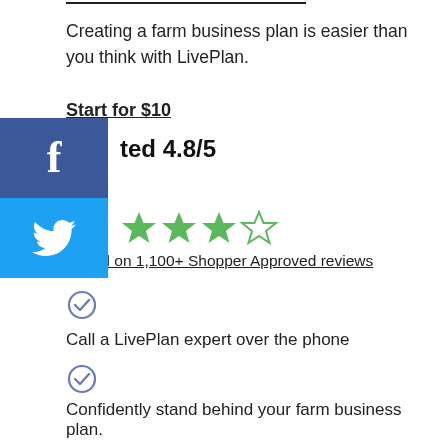Creating a farm business plan is easier than you think with LivePlan.
Start for $10
[Figure (other): Facebook share button (blue square with white 'f' icon)]
[Figure (other): Twitter share button (light blue square with white bird icon)]
ted 4.8/5
[Figure (other): Star rating: 4 green filled stars and 1 green outline/half star]
Based on 1,100+ Shopper Approved reviews
[Figure (other): Blue circular checkmark icon]
Call a LivePlan expert over the phone
[Figure (other): Blue circular checkmark icon]
Confidently stand behind your farm business plan.
Need funding for land, equipment, or other resources? LivePlan business plans are professional